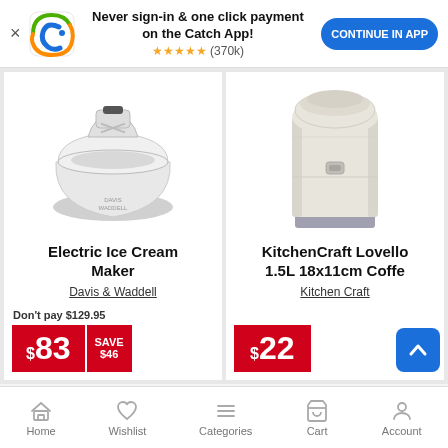[Figure (screenshot): Catch app promotional banner with logo, text, stars, and continue button]
[Figure (photo): Electric Ice Cream Maker - white appliance, Davis & Waddell brand]
Electric Ice Cream Maker
Davis & Waddell
Don't pay $129.95
$83 SAVE $46
[Figure (photo): KitchenCraft Lovello 1.5L 18x11cm Coffee canister - cream/beige colored canister]
KitchenCraft Lovello 1.5L 18x11cm Coffe
Kitchen Craft
$22
Home  Wishlist  Categories  Cart  Account